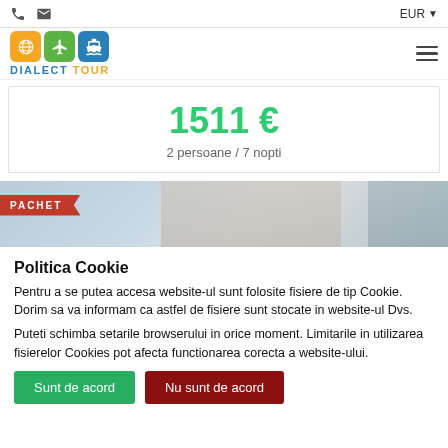EUR ▼
[Figure (logo): Dialect Tour logo with globe, plane, and ship icons in orange, green, and blue]
1511 €
2 persoane / 7 nopti
PACHET
Politica Cookie
Pentru a se putea accesa website-ul sunt folosite fisiere de tip Cookie. Dorim sa va informam ca astfel de fisiere sunt stocate in website-ul Dvs.
Puteti schimba setarile browserului in orice moment. Limitarile in utilizarea fisierelor Cookies pot afecta functionarea corecta a website-ului.
Sunt de acord
Nu sunt de acord